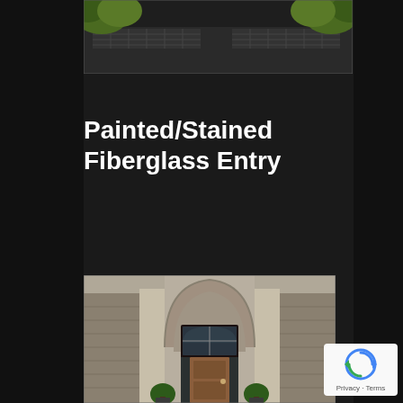[Figure (photo): Top portion of a building exterior with green leaves/trees visible and a tiled or shingled roof structure, dark background]
Painted/Stained Fiberglass Entry
[Figure (photo): Elegant home entryway with arched stucco surround, stone facade, ornate columns, and a stained wood fiberglass entry door with transom window and sidelights, flanked by boxwood topiaries]
[Figure (logo): Google reCAPTCHA badge with Privacy and Terms links]